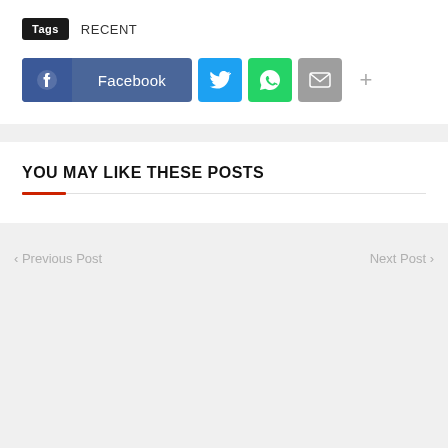Tags  RECENT
[Figure (infographic): Social share buttons: Facebook (blue), Twitter (light blue bird icon), WhatsApp (green phone icon), Email (gray envelope icon), plus (+) button]
YOU MAY LIKE THESE POSTS
‹ Previous Post
Next Post ›